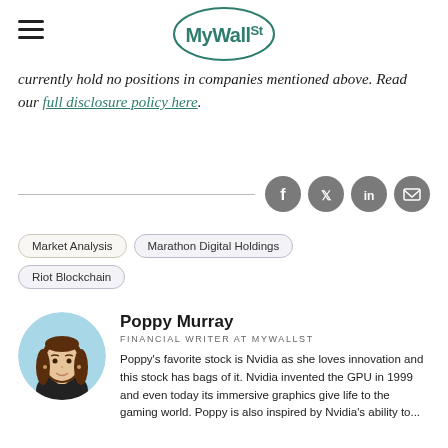MyWallSt
currently hold no positions in companies mentioned above. Read our full disclosure policy here.
[Figure (other): Social share icons row: Facebook, Twitter, LinkedIn, Email on grey circular buttons]
Market Analysis
Marathon Digital Holdings
Riot Blockchain
[Figure (illustration): Circular avatar illustration of Poppy Murray, a woman with brown hair, light skin, wearing dark clothing, on a light blue background]
Poppy Murray
FINANCIAL WRITER AT MYWALLST
Poppy's favorite stock is Nvidia as she loves innovation and this stock has bags of it. Nvidia invented the GPU in 1999 and even today its immersive graphics give life to the gaming world. Poppy is also inspired by Nvidia's ability to...